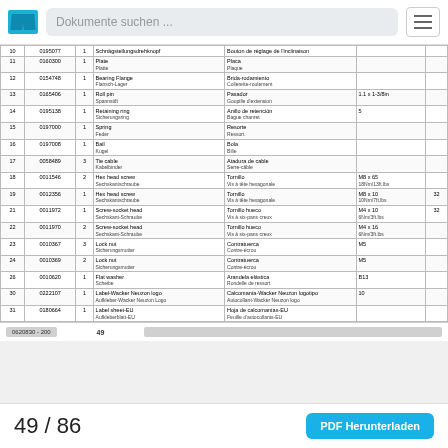Dokumente suchen ...
| # | Part No. | Qty | Description (EN/DE) | Description (FR/ES) | Spec | Extra |
| --- | --- | --- | --- | --- | --- | --- |
| 10 | 0195077 | 1 | Schnägstellungsdrehknopf | Bouton de réglage de l'inclinaison |  |  |
| 11 | 0160300 | 1 | Plate
Platte | Placa
Plaque |  |  |
| 12 | 0154748 | 1 | Bearing Flange
Flansch-Lager | Brida-rodamiento
Collerette-roulement |  |  |
| 13 | 0165406 | 1 | Roll pin
Spannstift | Pasador
Goupille d'extension | 1.1 x 1-3/8in |  |
| 14 | 0195138 | 1 | Retaining ring
Sicherungsring | Anillo de retención
Bague chanret | 5 |  |
| 15 | 0197000 | 1 | Spring
Feder | Resorte
Ressort |  |  |
| 16 | 0197008 | 1 | Ball
Kugel | Bola
Bille |  |  |
| 17 | 0058489 | 3 | Tie cable
Kabelbinder | Atadura de cable
Serre-câble |  |  |
| 18 | 0011546 | 2 | Hex head screw
Sechskantschraube | Tornillo
Vis à tête hexagonale | M8 x 65
18Nm/13ft.lbs |  |
| 19 | 0012356 | 1 | Hex head screw
Sechskantschraube | Tornillo
Vis à tête hexagonale | M8 x 10
10Nm/7ft.lbs | 32 |
| 21 | 0011972 | 1 | Screw-socket head
Sechskant-Schraube | Tornillo hueco
Vis à six-pans creux | M4 x 10
6Nm/3ft.lbs | 32 |
| 22 | 0011970 | 2 | Screw-socket head
Sechskant-Schraube | Tornillo hueco
Vis à six-pans creux | M4 x 16
6Nm/3ft.lbs |  |
| 23 | 0010367 | 3 | Lock nut
Sicherungsmutter | Contratuerca
Contre-écrou | M5 |  |
| 24 | 0010369 | 2 | Lock nut
Sicherungsmutter | Contratuerca
Contre-écrou | M5 |  |
| 26 | 0010620 | 1 | Flat washer
Scheibe | Arandela elástica
Rondelle de ressort | B13 |  |
| 30 | 0222107 | 1 | Label-Wacker Neuzon logo
Aufkleber-Wacker Neuzon Logo | Calcomanía-Wacker Neuzon logotipo
Autocollant-Wacker Neuzon logo | 10 |  |
| 31 | 0180664 | 1 | Label sheet-EU
Aufkleberblatt-EU | Hoja de calcomanías-EU
Feuille d'autocollants-EU |  |  |
0620830 - 200   49
49 / 86
PDF Herunterladen